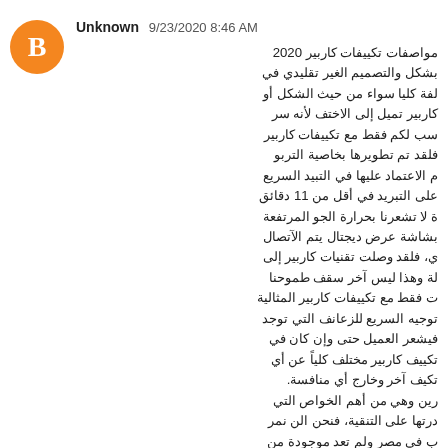[Figure (illustration): Orange circular avatar with white blogger 'B' icon]
Unknown 9/23/2020 8:46 AM
مواصفات تكييفات كاربير 2020 بشكل والتصميم الغير تقليدي في لفة كليا سواء من حيث الشكل أو كاربير تميل إلى الاختف لأنه سر سب لكم فقط مع تكييفات كاربير فلقد تم تطويرها بخاصية التربو م الاعتماد عليها في التبيد السريع على التبريد في أقل من 11 دقائق ة لا تشعرنا بحرارة الجو المرتفعة بشاشة عرض ديجتال يتم الآتصال ي، فلقد وصلت تقنيات كاربير إلى لة وهذا ليس آخر سقف طموحنا ت فقط مع تكييفات كاربير المثالية توجيه السريع للزعانف التي توجد فيشعر العميل حتى وإن كان في تكييف كاربير مختلف كلياً عن أي تكيف آخر وخارج أي منافسة. رين وهي من أهم الخواص التي درتها على التنقية، فنحن الن نمر ب في مصر ولم تعد موجودة من تطرد أي فيروس للخارج وتعمل عملية تنفية شاملة للمكان. أهمها نظام القفل أو ضد عبث حفاظاً على التكييف من مخاطر عنها إعطال غير مسبقة للتكييف